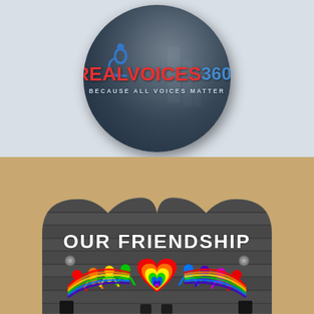[Figure (logo): RealVoices 360° logo on dark circular background with microphone icon in blue, 'REALVOICES' in red bold text, '360°' in blue bold text, tagline 'BECAUSE ALL VOICES MATTER' in white spaced letters]
[Figure (photo): Heart-shaped wooden sign with dark horizontal wood planks reading 'OUR FRIENDSHIP' in white chalk lettering, with colorful rainbow silhouette figures holding hands around a rainbow heart in the center, set against a tan stucco wall background]